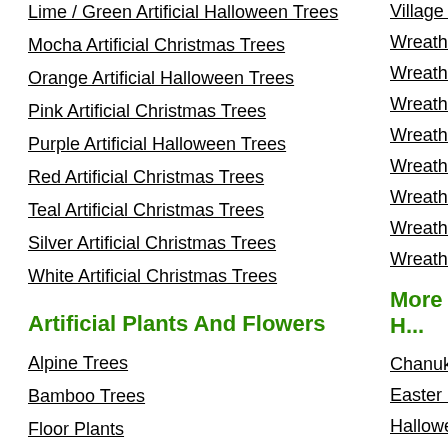Lime / Green Artificial Halloween Trees
Mocha Artificial Christmas Trees
Orange Artificial Halloween Trees
Pink Artificial Christmas Trees
Purple Artificial Halloween Trees
Red Artificial Christmas Trees
Teal Artificial Christmas Trees
Silver Artificial Christmas Trees
White Artificial Christmas Trees
Artificial Plants And Flowers
Alpine Trees
Bamboo Trees
Floor Plants
Floral Arrangements
Village Tre...
Wreath Ha...
Wreaths C...
Wreaths D...
Wreaths G...
Wreaths G...
Wreaths L...
Wreaths w...
Wreaths w...
More H...
Chanukah...
Easter De...
Halloween...
Mardi Gra...
Patriotic D...